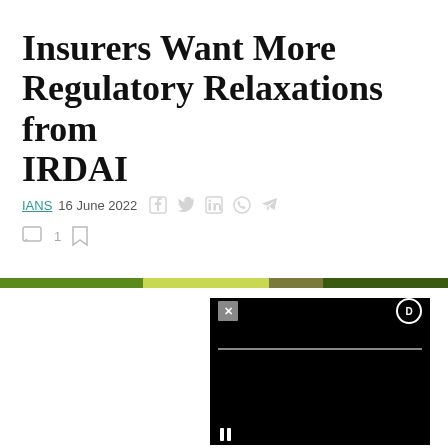Insurers Want More Regulatory Relaxations from IRDAI
IANS 16 June 2022
[Figure (screenshot): Green segmented progress/reading bar spanning full width of page]
[Figure (screenshot): Black video player widget with close (X) button, a circular icon, a progress line, and pause (II) controls]